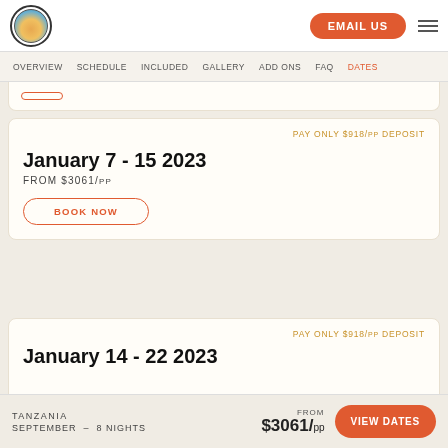EMAIL US
OVERVIEW  SCHEDULE  INCLUDED  GALLERY  ADD ONS  FAQ  DATES
PAY ONLY $918/pp DEPOSIT
January 7 - 15 2023
FROM $3061/pp
BOOK NOW
PAY ONLY $918/pp DEPOSIT
January 14 - 22 2023
PAY ONLY $918/pp DEPOSIT
TANZANIA  SEPTEMBER - 8 NIGHTS  FROM $3061/pp  VIEW DATES